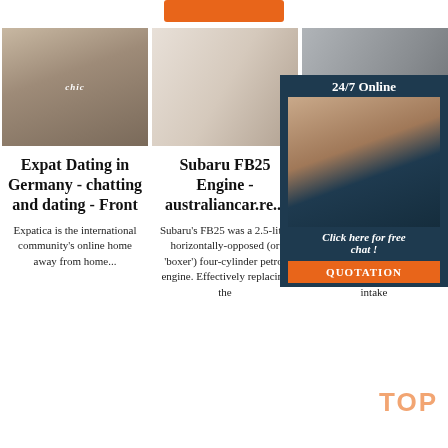[Figure (photo): Orange button at top of page]
[Figure (photo): Three product photos: sheepskin boots with 'chic' label, white fluffy pillows on wooden bench, grey knit fabric texture]
[Figure (other): 24/7 Online chat ad overlay with woman wearing headset, 'Click here for free chat!' text, and QUOTATION orange button]
Expat Dating in Germany - chatting and dating - Front
Expatica is the international community's online home away from home...
Subaru FB25 Engine - australiancar.re...
Subaru's FB25 was a 2.5-litre horizontally-opposed (or 'boxer') four-cylinder petrol engine. Effectively replacing the
EJ2... E... Su... ...vi...
The EJ202 engines had an aluminium alloy cylinder head with cross-flow cooling. Unlike the EJ20 engine, the intake